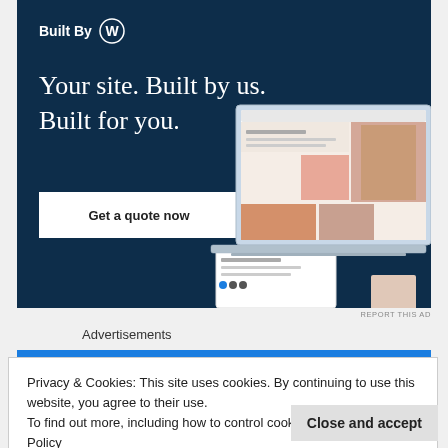[Figure (screenshot): WordPress 'Built By' advertisement banner with dark navy background showing tagline 'Your site. Built by us. Built for you.' with a 'Get a quote now' button and laptop mockup showing a fashion website]
REPORT THIS AD
Advertisements
Privacy & Cookies: This site uses cookies. By continuing to use this website, you agree to their use.
To find out more, including how to control cookies, see here: Cookie Policy
Close and accept